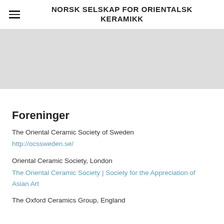NORSK SELSKAP FOR ORIENTALSK KERAMIKK
[Figure (other): Gray hero banner image placeholder]
Foreninger
The Oriental Ceramic Society of Sweden
http://ocssweden.se/
Oriental Ceramic Society, London
The Oriental Ceramic Society | Society for the Appreciation of Asian Art
The Oxford Ceramics Group, England